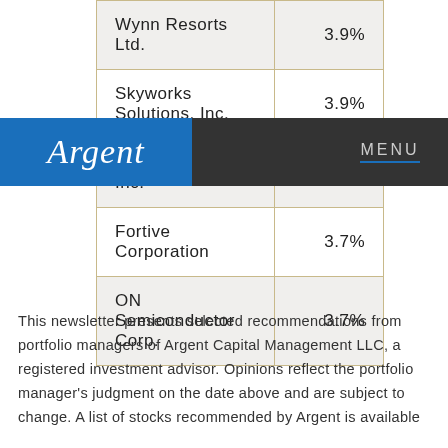| Company | Weight |
| --- | --- |
| Wynn Resorts Ltd. | 3.9% |
| Skyworks Solutions, Inc. | 3.9% |
| Post Holdings, Inc. | 3.8% |
| Fortive Corporation | 3.7% |
| ON Semiconductor Corp. | 3.7% |
This newsletter presents selected recommendations from portfolio managers of Argent Capital Management LLC, a registered investment advisor. Opinions reflect the portfolio manager's judgment on the date above and are subject to change. A list of stocks recommended by Argent is available